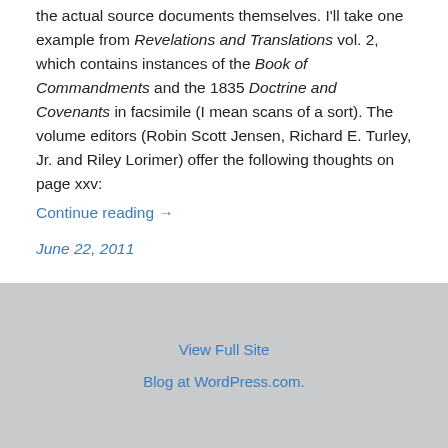the actual source documents themselves. I'll take one example from Revelations and Translations vol. 2, which contains instances of the Book of Commandments and the 1835 Doctrine and Covenants in facsimile (I mean scans of a sort). The volume editors (Robin Scott Jensen, Richard E. Turley, Jr. and Riley Lorimer) offer the following thoughts on page xxv:
Continue reading →
June 22, 2011
View Full Site
Blog at WordPress.com.